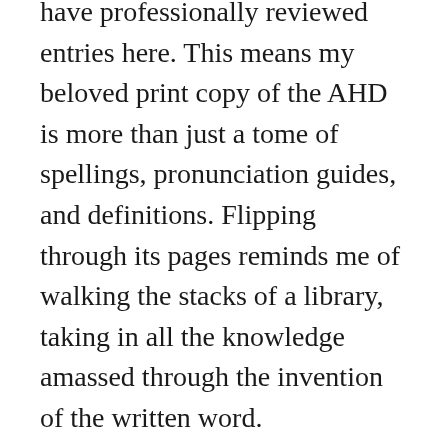have professionally reviewed entries here. This means my beloved print copy of the AHD is more than just a tome of spellings, pronunciation guides, and definitions. Flipping through its pages reminds me of walking the stacks of a library, taking in all the knowledge amassed through the invention of the written word.
Oxford Dictionary: The online Oxford is, in my opinion, a better resource for understanding subtle distinctions and hues of words than Merriam-Webster. MW can be dry, where the OD definitions and example sentences provide luster (lustre)